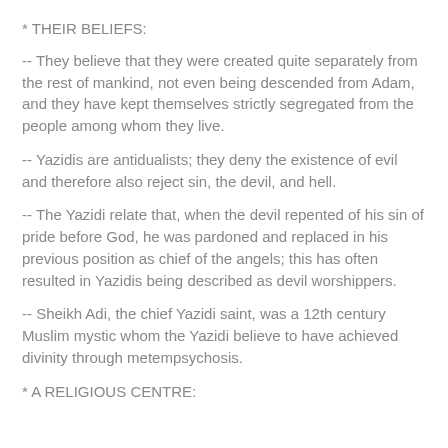* THEIR BELIEFS:
-- They believe that they were created quite separately from the rest of mankind, not even being descended from Adam, and they have kept themselves strictly segregated from the people among whom they live.
-- Yazidis are antidualists; they deny the existence of evil and therefore also reject sin, the devil, and hell.
-- The Yazidi relate that, when the devil repented of his sin of pride before God, he was pardoned and replaced in his previous position as chief of the angels; this has often resulted in Yazidis being described as devil worshippers.
-- Sheikh Adi, the chief Yazidi saint, was a 12th century Muslim mystic whom the Yazidi believe to have achieved divinity through metempsychosis.
* A RELIGIOUS CENTRE: